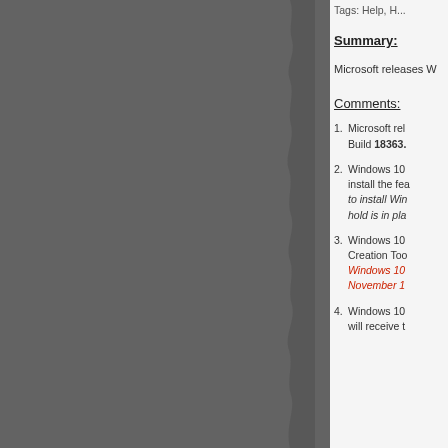Tags: Help, H...
Summary:
Microsoft releases W...
Comments:
Microsoft rel... Build 18363...
Windows 10... install the fe... to install Win... hold is in pla...
Windows 10... Creation Too... Windows 10... November 1...
Windows 10... will receive t...